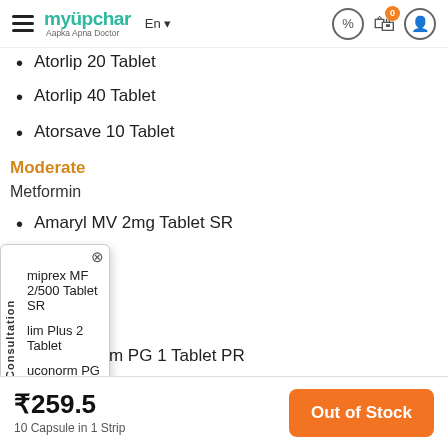myUpchar — Aapka Apna Doctor — En — (icons)
Atorlip 20 Tablet (partially visible)
Atorlip 40 Tablet
Atorsave 10 Tablet
Moderate
Metformin
Amaryl MV 2mg Tablet SR
[Figure (screenshot): Consultation popup overlay with close button, doctor avatar, and partially visible list items: miprex MF 2/500 Tablet SR, lim Plus 2 Tablet, uconorm PG 1 Tablet PR, tazone, lim Plus 2 Tablet]
Gluconorm PG 1 Tablet PR
₹259.5
10 Capsule in 1 Strip
Out of Stock